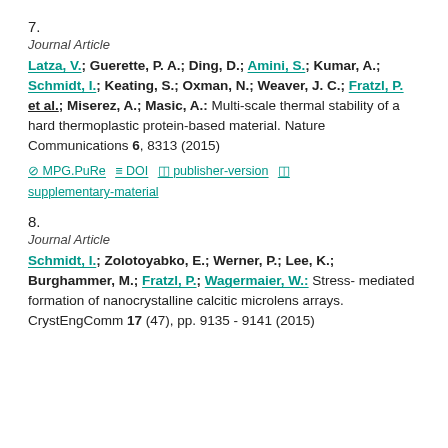7.
Journal Article
Latza, V.; Guerette, P. A.; Ding, D.; Amini, S.; Kumar, A.; Schmidt, I.; Keating, S.; Oxman, N.; Weaver, J. C.; Fratzl, P. et al.; Miserez, A.; Masic, A.: Multi-scale thermal stability of a hard thermoplastic protein-based material. Nature Communications 6, 8313 (2015)
MPG.PuRe  DOI  publisher-version  supplementary-material
8.
Journal Article
Schmidt, I.; Zolotoyabko, E.; Werner, P.; Lee, K.; Burghammer, M.; Fratzl, P.; Wagermaier, W.: Stress-mediated formation of nanocrystalline calcitic microlens arrays. CrystEngComm 17 (47), pp. 9135 - 9141 (2015)